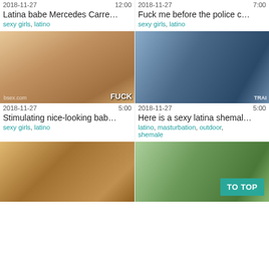2018-11-27  12:00
2018-11-27  7:00
Latina babe Mercedes Carre…
Fuck me before the police c…
sexy girls, latino
sexy girls, latino
[Figure (photo): Close-up photo]
[Figure (photo): Woman in dark skirt photo]
2018-11-27  5:00
2018-11-27  5:00
Stimulating nice-looking bab…
Here is a sexy latina shemal…
sexy girls, latino
latino, masturbation, outdoor, shemale
[Figure (photo): Group photo bottom left]
[Figure (photo): Woman in green shorts photo]